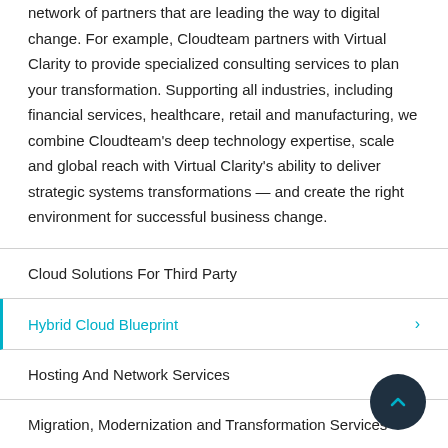network of partners that are leading the way to digital change. For example, Cloudteam partners with Virtual Clarity to provide specialized consulting services to plan your transformation. Supporting all industries, including financial services, healthcare, retail and manufacturing, we combine Cloudteam's deep technology expertise, scale and global reach with Virtual Clarity's ability to deliver strategic systems transformations — and create the right environment for successful business change.
Cloud Solutions For Third Party
Hybrid Cloud Blueprint
Hosting And Network Services
Migration, Modernization and Transformation Services
Platform Solutions And Container Services